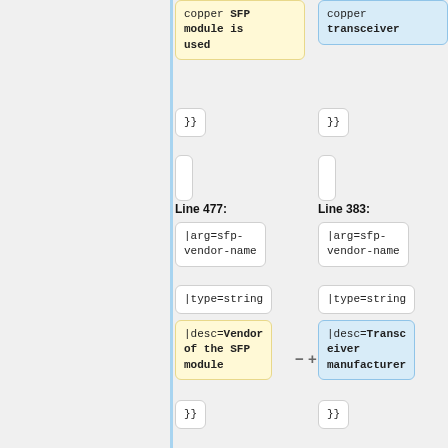[Figure (other): Code diff viewer showing two columns of code changes. Left column (Line 477) shows removed content highlighted in yellow, right column (Line 383) shows added content highlighted in blue. Contains code blocks with |arg=sfp-vendor-name, |type=string, |desc= fields, and }} closing brackets.]